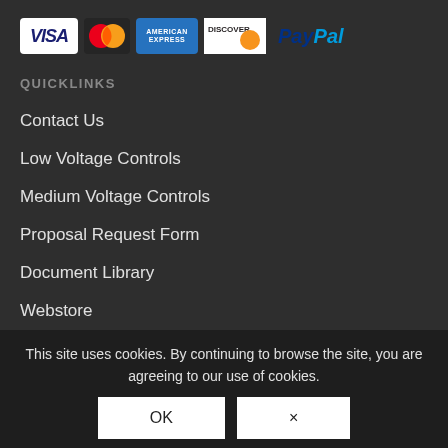[Figure (logo): Payment method logos: Visa, MasterCard, American Express, Discover, PayPal]
QUICKLINKS
Contact Us
Low Voltage Controls
Medium Voltage Controls
Proposal Request Form
Document Library
Webstore
This site uses cookies. By continuing to browse the site, you are agreeing to our use of cookies.
© Copyright 2022 - Benshaw Partner Portal  Terms of Use  Privacy